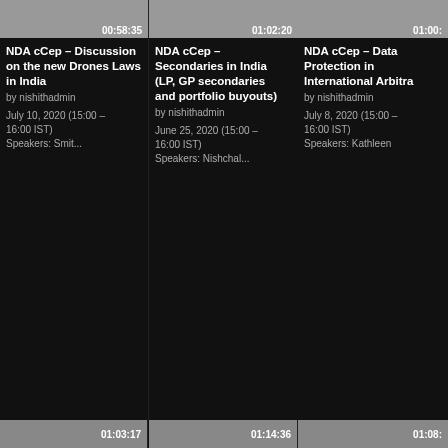[Figure (screenshot): Video thumbnail grid showing three NDA cCep webinar recordings with timestamps, titles, authors, dates and speaker info on dark background. Three cards visible: 00:58:35, 01:02:20, 01:00:xx. Bottom row shows partial thumbnails with timestamps 01:03:17, 01:14:36, 01:08:xx.]
00:58:35
NDA cCep – Discussion on the new Drones Laws in India
by nishithadmin
July 10, 2020 (15:00 – 16:00 IST)
Speakers: Smit...
01:02:20
NDA cCep – Secondaries in India (LP, GP secondaries and portfolio buyouts)
by nishithadmin
June 25, 2020 (15:00 – 16:00 IST)
Speakers: Nishchal...
01:00:
NDA cCep – Data Protection in International Arbitra
by nishithadmin
July 8, 2020 (15:00 – 16:00 IST)
Speakers: Kathleen
01:03:17
01:14:36
01:08: